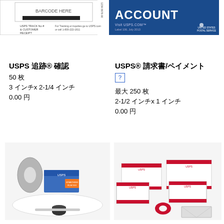[Figure (photo): USPS tracking label/receipt with barcode area and customer info text]
[Figure (photo): USPS Account label - blue background with ACCOUNT text, Visit USPS.COM, Label 106 July 2013]
USPS 追跡® 確認
50 枚
3 インチx 2-1/4 インチ
0.00 円
USPS® 請求書/ペイメント
？
最大 250 枚
2-1/2 インチx 1 インチ
0.00 円
[Figure (photo): USPS shipping supplies kit with tape, labels, forms on white tray]
[Figure (photo): USPS Priority Mail boxes, tape, and assorted shipping supplies]